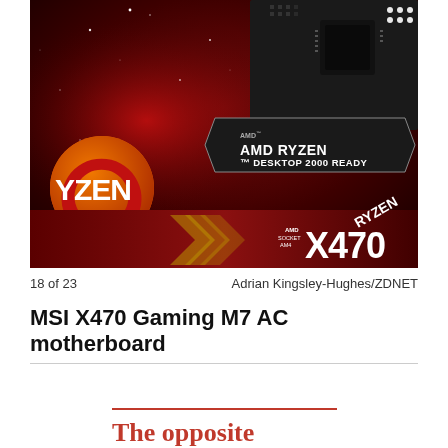[Figure (photo): Close-up photo of MSI X470 motherboard box and an AMD Ryzen Desktop 2000 Ready badge/sticker, against a dark red starfield background. The Ryzen logo (orange circle with YZen text) is visible on the left. An AMD X470 Ryzen box is partially visible at the bottom right.]
18 of 23
Adrian Kingsley-Hughes/ZDNET
MSI X470 Gaming M7 AC motherboard
The opposite